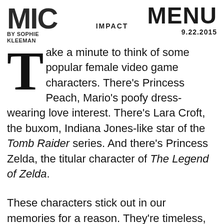MIC | BY SOPHIE KLEEMAN | IMPACT | MENU 9.22.2015
Take a minute to think of some popular female video game characters. There's Princess Peach, Mario's poofy dress-wearing love interest. There's Lara Croft, the buxom, Indiana Jones-like star of the Tomb Raider series. And there's Princess Zelda, the titular character of The Legend of Zelda.
These characters stick out in our memories for a reason. They're timeless, popular and iconic. But each woman — and many other female video game characters — falls into a very narrow category. They